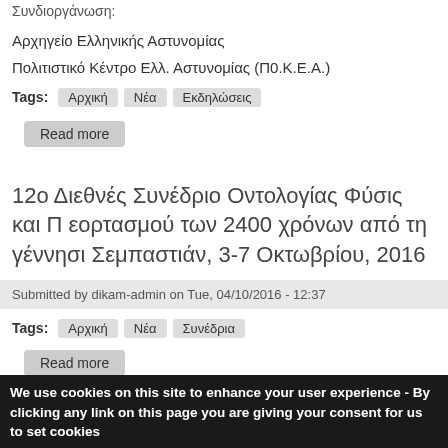Συνδιοργάνωση:
Αρχηγείο Ελληνικής Αστυνομίας
Πολιτιστικό Κέντρο Ελλ. Αστυνομίας (Π0.Κ.Ε.Α.)
Tags: Αρχική  Νέα  Εκδηλώσεις
Read more
12ο Διεθνές Συνέδριο Οντολογίας Φύσις και Π εορτασμού των 2400 χρόνων από τη γέννησι Σεμπαστιάν, 3-7 Οκτωβρίου, 2016
Submitted by dikam-admin on Tue, 04/10/2016 - 12:37
Tags: Αρχική  Νέα  Συνέδρια
Read more
Aristotle University of Thessaloniki Alumni - S
We use cookies on this site to enhance your user experience - By clicking any link on this page you are giving your consent for us to set cookies